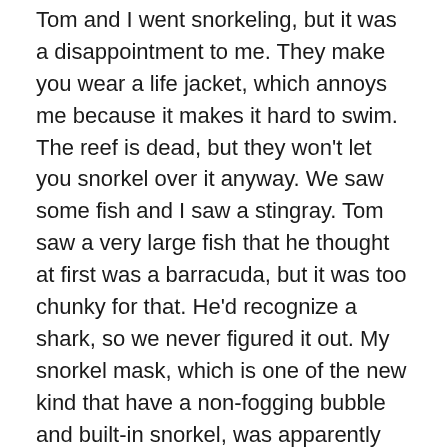Tom and I went snorkeling, but it was a disappointment to me. They make you wear a life jacket, which annoys me because it makes it hard to swim. The reef is dead, but they won't let you snorkel over it anyway. We saw some fish and I saw a stingray. Tom saw a very large fish that he thought at first was a barracuda, but it was too chunky for that. He'd recognize a shark, so we never figured it out. My snorkel mask, which is one of the new kind that have a non-fogging bubble and built-in snorkel, was apparently too large, and I had to snorkel with my mouth hanging open to prevent water from entering. There was a line of people waiting at the steps to get into the water, and none of them would budge to let us out. A kindly man eventually took my equipment to allow me to climb out, which was nice of him.
We had the cafeteria food they were serving for lunch,